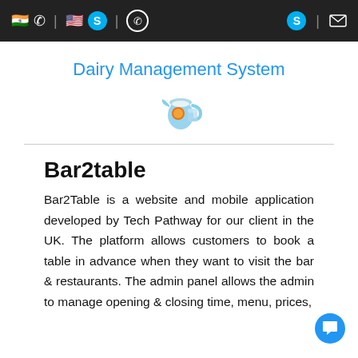Navigation bar with contact icons (India flag, phone, US flag, Skype, WhatsApp on left; Skype, email on right)
Dairy Management System
[Figure (logo): Dairy jug/pitcher logo icon]
Bar2table
Bar2Table is a website and mobile application developed by Tech Pathway for our client in the UK. The platform allows customers to book a table in advance when they want to visit the bar & restaurants. The admin panel allows the admin to manage opening & closing time, menu, prices,